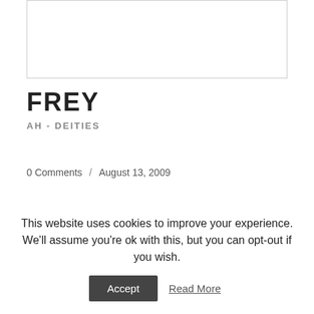[Figure (other): Image placeholder at top of page, rectangular bordered area]
FREY
AH - DEITIES
0 Comments / August 13, 2009
[Figure (other): Image placeholder in lower portion of page, rectangular bordered area]
This website uses cookies to improve your experience. We'll assume you're ok with this, but you can opt-out if you wish.
Accept  Read More